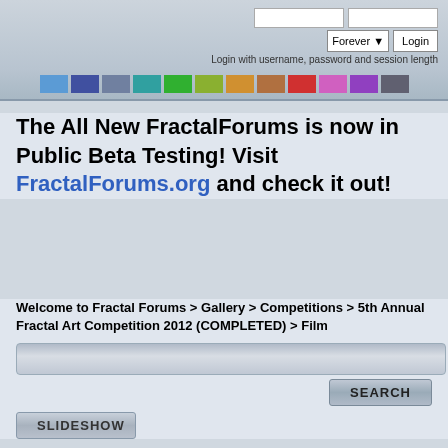[Figure (screenshot): Login area with two text input fields, a Forever dropdown button, and a Login button]
Login with username, password and session length
[Figure (infographic): Row of colored swatches: blue, dark blue, gray, teal, green, olive, orange, brown, red, pink, purple, dark gray]
The All New FractalForums is now in Public Beta Testing! Visit FractalForums.org and check it out!
Welcome to Fractal Forums > Gallery > Competitions > 5th Annual Fractal Art Competition 2012 (COMPLETED) > Film
[Figure (screenshot): Search input bar and SEARCH button]
[Figure (screenshot): SLIDESHOW button partially visible at bottom]